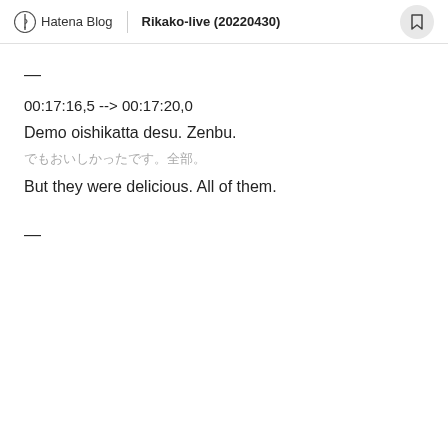Hatena Blog | Rikako-live (20220430)
—
00:17:16,5 --> 00:17:20,0
Demo oishikatta desu. Zenbu.
でもおいしかったです。全部。
But they were delicious. All of them.
—